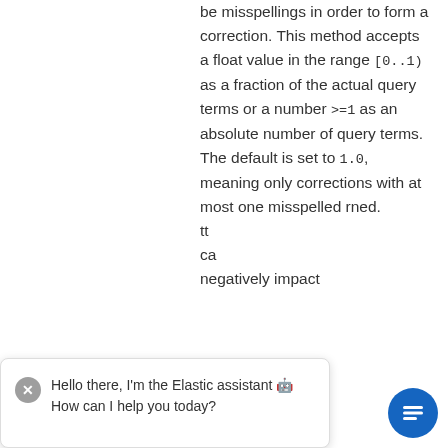be misspellings in order to form a correction. This method accepts a float value in the range [0..1) as a fraction of the actual query terms or a number >=1 as an absolute number of query terms. The default is set to 1.0, meaning only corrections with at most one misspelled rned. tt ca negatively impact
Hello there, I'm the Elastic assistant 🤖 How can I help you today?